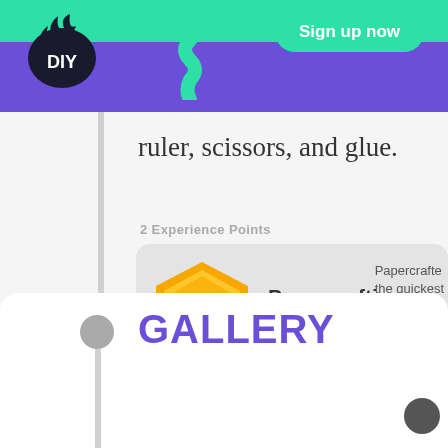DIY — Sign up now
ruler, scissors, and glue.
2 Experience Points
[Figure (infographic): Papercrafting badge: gold hexagon with blue butterfly icon, +2 XP pill, badge name 'Papercrafting', partial description text 'Papercrafte... the quickest']
GALLERY